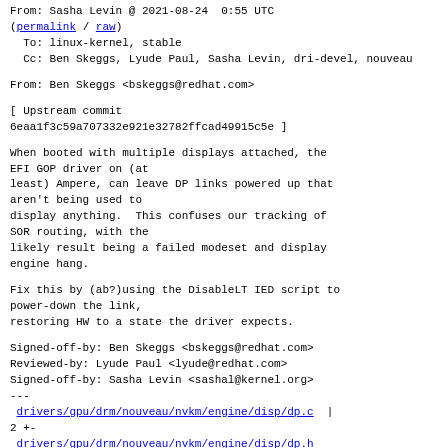From: Sasha Levin @ 2021-08-24  0:55 UTC
(permalink / raw)
  To: linux-kernel, stable
  Cc: Ben Skeggs, Lyude Paul, Sasha Levin, dri-devel, nouveau
From: Ben Skeggs <bskeggs@redhat.com>
[ Upstream commit
6eaa1f3c59a707332e921e32782ffcad49915c5e ]
When booted with multiple displays attached, the EFI GOP driver on (at
least) Ampere, can leave DP links powered up that aren't being used to
display anything.  This confuses our tracking of SOR routing, with the
likely result being a failed modeset and display engine hang.
Fix this by (ab?)using the DisableLT IED script to power-down the link,
restoring HW to a state the driver expects.
Signed-off-by: Ben Skeggs <bskeggs@redhat.com>
Reviewed-by: Lyude Paul <lyude@redhat.com>
Signed-off-by: Sasha Levin <sashal@kernel.org>
---
 drivers/gpu/drm/nouveau/nvkm/engine/disp/dp.c | 2 +-
 drivers/gpu/drm/nouveau/nvkm/engine/disp/dp.h